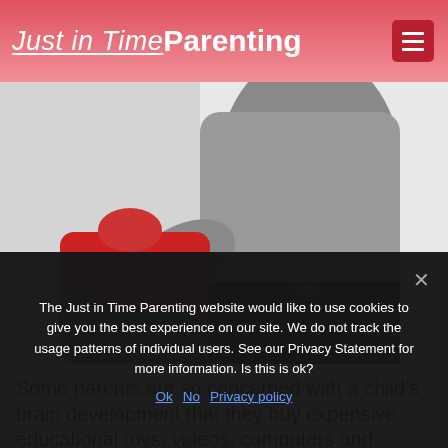Just in Time Parenting
[Figure (photo): Adult holding a child dressed in red shirt and jeans, seen from behind; studio/white background image]
Some parents are so concerned with a child's brain development that they buy expensive educational toys, videos, computers and language tapes.
The Just in Time Parenting website would like to use cookies to give you the best experience on our site. We do not track the usage patterns of individual users. See our Privacy Statement for more information. Is this is ok?
Ok  No  Privacy policy